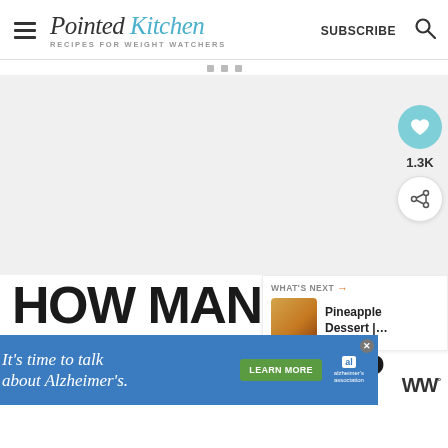Pointed Kitchen — RECIPES FOR WEIGHT WATCHERS | SUBSCRIBE
[Figure (screenshot): White advertisement placeholder area with grid dots at top]
[Figure (infographic): Social sidebar with heart button showing 1.3K and share button]
HOW MANY SMA... POINTS IN THIS...
[Figure (infographic): What's Next panel showing Pineapple Dessert thumbnail]
[Figure (infographic): Bottom advertisement banner: It's time to talk about Alzheimer's. LEARN MORE — Alzheimer's association]